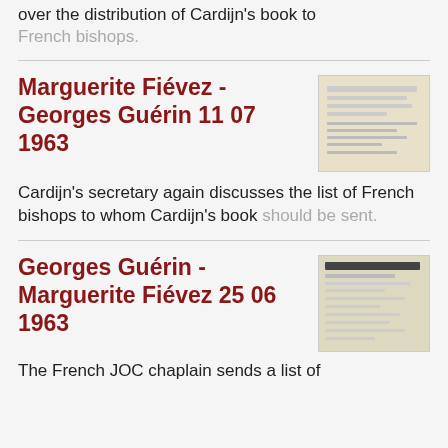over the distribution of Cardijn's book to French bishops.
Marguerite Fiévez - Georges Guérin 11 07 1963
Cardijn's secretary again discusses the list of French bishops to whom Cardijn's book should be sent.
Georges Guérin - Marguerite Fiévez 25 06 1963
The French JOC chaplain sends a list of